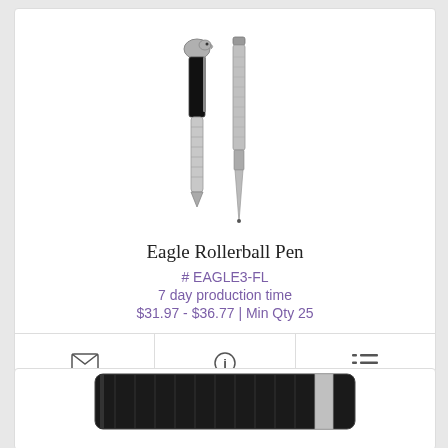[Figure (photo): Product photo of Eagle Rollerball Pen showing two views: one with cap showing eagle head topper, and one uncapped showing the pen nib. Pen body has decorative silver engraving.]
Eagle Rollerball Pen
# EAGLE3-FL
7 day production time
$31.97 - $36.77 | Min Qty 25
[Figure (photo): Partial product photo at bottom of page showing the lower portion of a pen with black body and silver accents.]